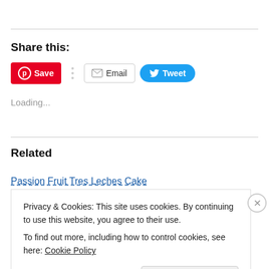Share this:
[Figure (screenshot): Social share buttons: Save (Pinterest), Email, Tweet (Twitter)]
Loading...
Related
Passion Fruit Tres Leches Cake
Privacy & Cookies: This site uses cookies. By continuing to use this website, you agree to their use.
To find out more, including how to control cookies, see here: Cookie Policy
Close and accept